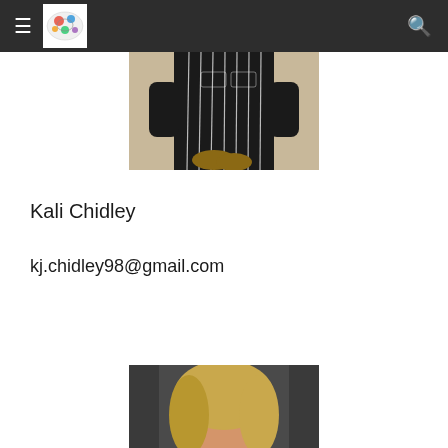≡ [logo] 🔍
[Figure (photo): Person wearing black and white striped shirt, upper body visible, standing against beige wall]
Kali Chidley
kj.chidley98@gmail.com
[Figure (photo): Person with blonde hair, selfie-style photo, partially visible at bottom of page]